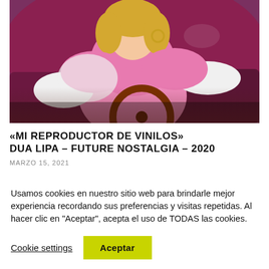[Figure (photo): A woman with blonde hair wearing a pink outfit and white gloves sitting inside a car with a wooden steering wheel, shot in a retro/vintage style]
«MI REPRODUCTOR DE VINILOS» DUA LIPA – FUTURE NOSTALGIA – 2020
MARZO 15, 2021
Usamos cookies en nuestro sitio web para brindarle mejor experiencia recordando sus preferencias y visitas repetidas. Al hacer clic en "Aceptar", acepta el uso de TODAS las cookies.
Cookie settings
Aceptar